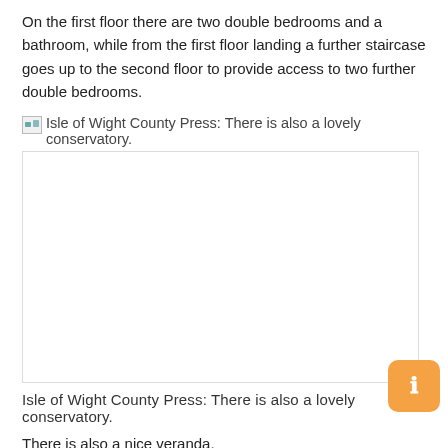On the first floor there are two double bedrooms and a bathroom, while from the first floor landing a further staircase goes up to the second floor to provide access to two further double bedrooms.
Isle of Wight County Press: There is also a lovely conservatory.
[Figure (photo): A large blank/white image placeholder representing a photo captioned 'Isle of Wight County Press: There is also a lovely conservatory.']
Isle of Wight County Press: There is also a lovely conservatory.
There is also a nice veranda.